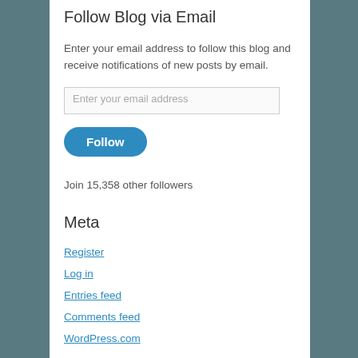Follow Blog via Email
Enter your email address to follow this blog and receive notifications of new posts by email.
Enter your email address
Follow
Join 15,358 other followers
Meta
Register
Log in
Entries feed
Comments feed
WordPress.com